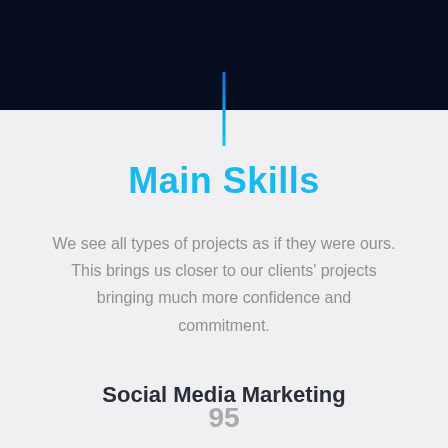Main Skills
We see all types of projects as if they were ours. This brings us closer to our clients' projects bringing much more confidence and commitment.
Social Media Marketing
95